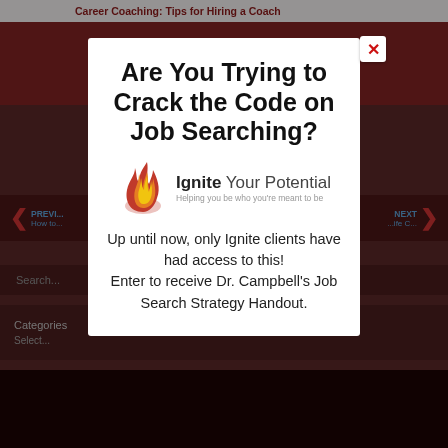Career Coaching: Tips for Hiring a Coach
[Figure (screenshot): Background web page with navigation, search, and categories areas dimmed behind modal]
Are You Trying to Crack the Code on Job Searching?
[Figure (logo): Ignite Your Potential logo — flame icon with text 'Ignite Your Potential' and tagline 'Helping you be who you're meant to be']
Up until now, only Ignite clients have had access to this! Enter to receive Dr. Campbell's Job Search Strategy Handout.